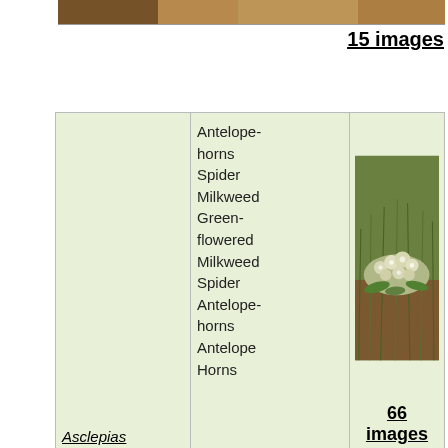[Figure (photo): Partial top strip of a landscape/nature photo (cropped)]
15 images
| Scientific Name | Common Names | Image |
| --- | --- | --- |
| Asclepias asperula | Antelope-horns
Spider Milkweed
Green-flowered Milkweed
Spider Antelope-horns
Antelope Horns | 66 images |
[Figure (photo): Photo of Asclepias asperula (milkweed) showing a cluster of white-green flowers low to the ground with grass in background]
66 images
| Scientific Name | Common Names | Image |
| --- | --- | --- |
| Asclepias brachystephana | Bract Milkweed
Desert-rose |  |
[Figure (photo): Photo of Asclepias brachystephana showing thin reed-like stems with small reddish-purple flower clusters]